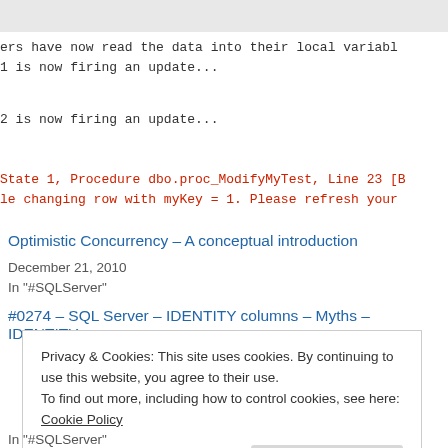ers have now read the data into their local variable
1 is now firing an update...
2 is now firing an update...
State 1, Procedure dbo.proc_ModifyMyTest, Line 23 [B
le changing row with myKey = 1. Please refresh your
Optimistic Concurrency – A conceptual introduction
December 21, 2010
In "#SQLServer"
#0274 – SQL Server – IDENTITY columns – Myths – IDENTITY
Privacy & Cookies: This site uses cookies. By continuing to use this website, you agree to their use.
To find out more, including how to control cookies, see here: Cookie Policy
Close and accept
In "#SQLServer"